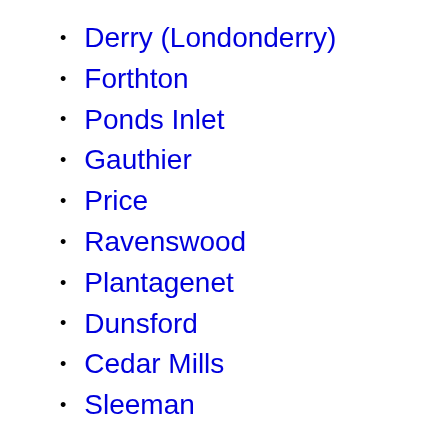Derry (Londonderry)
Forthton
Ponds Inlet
Gauthier
Price
Ravenswood
Plantagenet
Dunsford
Cedar Mills
Sleeman